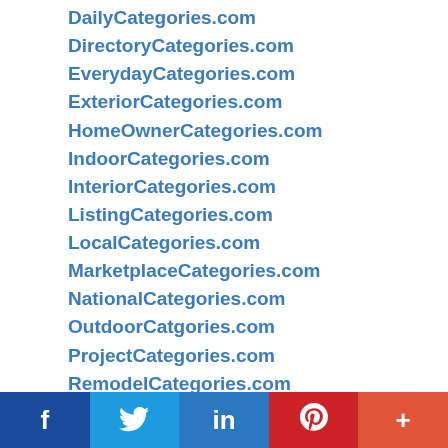DailyCategories.com
DirectoryCategories.com
EverydayCategories.com
ExteriorCategories.com
HomeOwnerCategories.com
IndoorCategories.com
InteriorCategories.com
ListingCategories.com
LocalCategories.com
MarketplaceCategories.com
NationalCategories.com
OutdoorCatgories.com
ProjectCategories.com
RemodelCategories.com
RenovationCategories.com
RepairCategories.com
ServiceCategories.com
StateCategories.com
f  [Twitter]  in  [Pinterest]  +